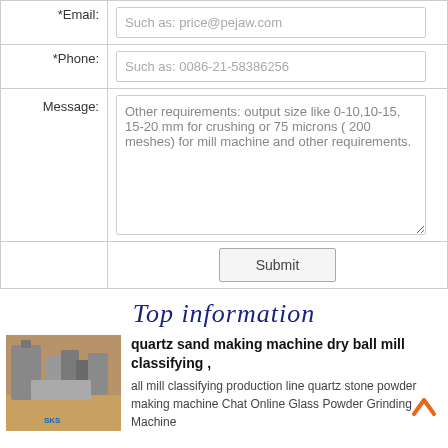| *Email: | Such as: price@pejaw.com |
| *Phone: | Such as: 0086-21-58386256 |
| Message: | Other requirements: output size like 0-10,10-15, 15-20 mm for crushing or 75 microns ( 200 meshes) for mill machine and other requirements. |
|  | Submit |
Top information
[Figure (photo): Industrial mining/crushing facility with large machinery and equipment outdoors on a dirt ground with sky in background, logo SKS visible]
quartz sand making machine dry ball mill classifying ,
all mill classifying production line quartz stone powder making machine Chat Online Glass Powder Grinding Machine